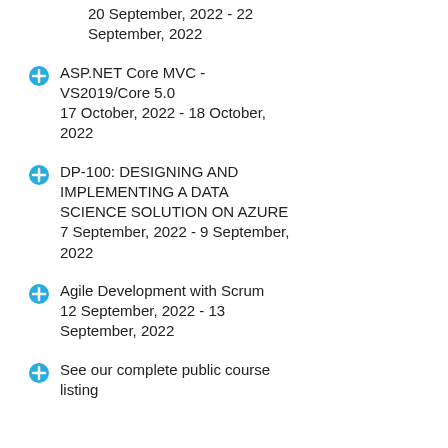20 September, 2022 - 22 September, 2022
ASP.NET Core MVC - VS2019/Core 5.0
17 October, 2022 - 18 October, 2022
DP-100: DESIGNING AND IMPLEMENTING A DATA SCIENCE SOLUTION ON AZURE
7 September, 2022 - 9 September, 2022
Agile Development with Scrum
12 September, 2022 - 13 September, 2022
See our complete public course listing